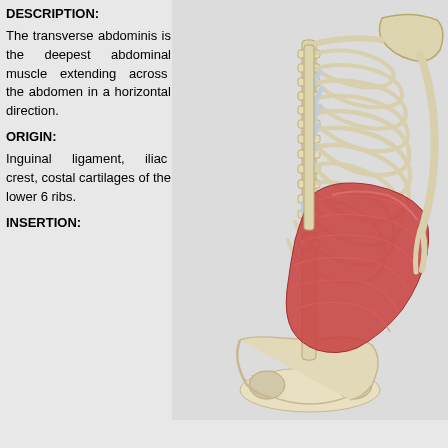DESCRIPTION:
The transverse abdominis is the deepest abdominal muscle extending across the abdomen in a horizontal direction.
ORIGIN:
Inguinal ligament, iliac crest, costal cartilages of the lower 6 ribs.
INSERTION:
[Figure (illustration): 3D anatomical illustration of the transverse abdominis muscle (shown in red) overlaid on the skeleton of the ribcage and pelvis, viewed from the front-right side. The muscle spans horizontally across the lower abdomen.]